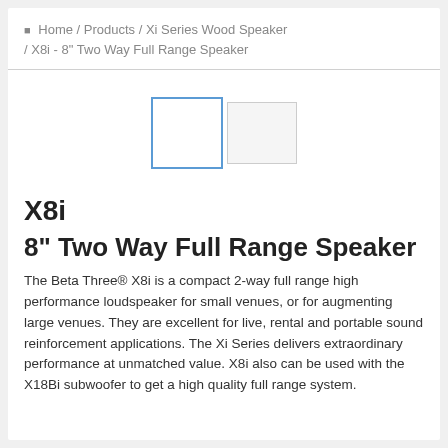🏠 Home / Products / Xi Series Wood Speaker / X8i - 8" Two Way Full Range Speaker
[Figure (photo): Two thumbnail image placeholders side by side: one with blue border (selected), one with gray border]
X8i
8" Two Way Full Range Speaker
The Beta Three® X8i is a compact 2-way full range high performance loudspeaker for small venues, or for augmenting large venues. They are excellent for live, rental and portable sound reinforcement applications. The Xi Series delivers extraordinary performance at unmatched value. X8i also can be used with the X18Bi subwoofer to get a high quality full range system.